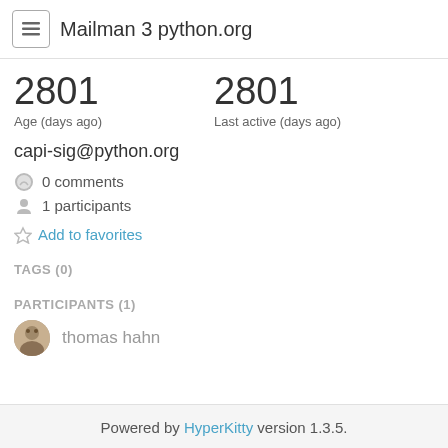Mailman 3 python.org
2801
Age (days ago)
2801
Last active (days ago)
capi-sig@python.org
0 comments
1 participants
Add to favorites
TAGS (0)
PARTICIPANTS (1)
thomas hahn
Powered by HyperKitty version 1.3.5.